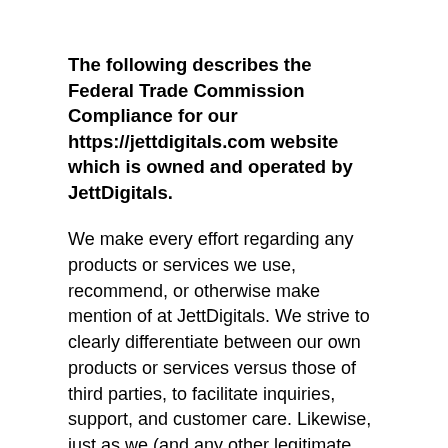The following describes the Federal Trade Commission Compliance for our https://jettdigitals.com website which is owned and operated by JettDigitals.
We make every effort regarding any products or services we use, recommend, or otherwise make mention of at JettDigitals. We strive to clearly differentiate between our own products or services versus those of third parties, to facilitate inquiries, support, and customer care. Likewise, just as we (and any other legitimate business) may profit from the sale of our own products or services, we may also profit from the sale of others' products or services (like any retailer) at JettDigitals. Additionally, wherever products or services may give rise to income...